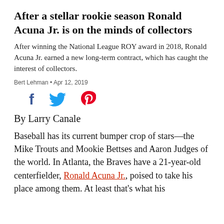After a stellar rookie season Ronald Acuna Jr. is on the minds of collectors
After winning the National League ROY award in 2018, Ronald Acuna Jr. earned a new long-term contract, which has caught the interest of collectors.
Bert Lehman • Apr 12, 2019
[Figure (infographic): Social sharing icons: Facebook (f), Twitter (bird), Pinterest (p)]
By Larry Canale
Baseball has its current bumper crop of stars—the Mike Trouts and Mookie Bettses and Aaron Judges of the world. In Atlanta, the Braves have a 21-year-old centerfielder, Ronald Acuna Jr., poised to take his place among them. At least that's what his